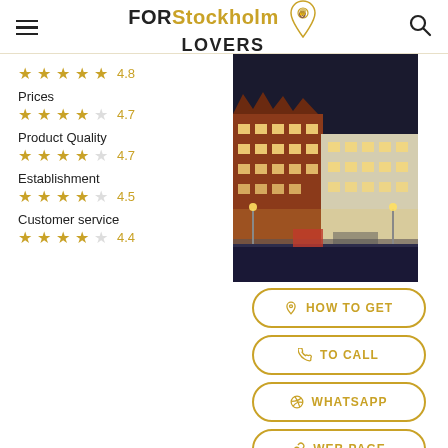FOR Stockholm LOVERS
4.8
Prices 4.7
Product Quality 4.7
Establishment 4.5
Customer service 4.4
[Figure (photo): Night photo of a large historic hotel building in Stockholm with illuminated windows]
HOW TO GET
TO CALL
WHATSAPP
WEB PAGE
Address: Norrmalmstorg 2, 111 46 Stockholm, Sweden
Schedule: Closed · Opens 12PM Sun